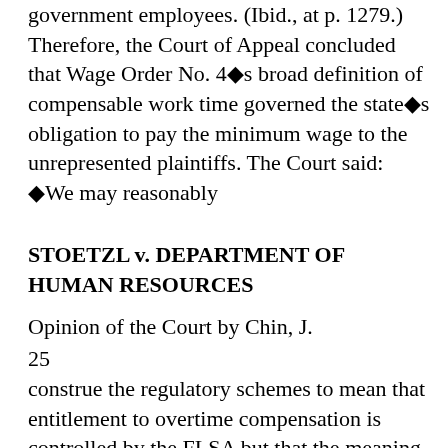government employees. (Ibid., at p. 1279.) Therefore, the Court of Appeal concluded that Wage Order No. 4◆s broad definition of compensable work time governed the state◆s obligation to pay the minimum wage to the unrepresented plaintiffs. The Court said: ◆We may reasonably
STOETZL v. DEPARTMENT OF HUMAN RESOURCES
Opinion of the Court by Chin, J.
25
construe the regulatory schemes to mean that entitlement to overtime compensation is controlled by the FLSA but that the meaning of ◆hours worked◆ is governed by Wage Order 4. Such